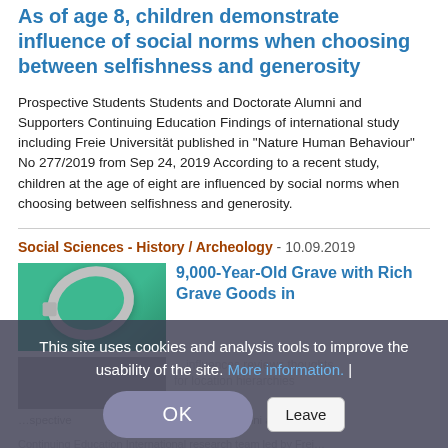As of age 8, children demonstrate influence of social norms when choosing between selfishness and generosity
Prospective Students Students and Doctorate Alumni and Supporters Continuing Education Findings of international study including Freie Universität published in "Nature Human Behaviour" No 277/2019 from Sep 24, 2019 According to a recent study, children at the age of eight are influenced by social norms when choosing between selfishness and generosity.
Social Sciences - History / Archeology - 10.09.2019
[Figure (photo): Photo of an ancient silver ring or bracelet artifact on green background]
9,000-Year-Old Grave with Rich Grave Goods in
This site uses cookies and analysis tools to improve the usability of the site. More information. |
OK
Leave